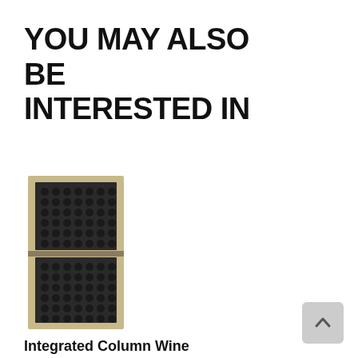YOU MAY ALSO BE INTERESTED IN
[Figure (photo): Integrated Column Wine Cabinet 24 inch product photo - tall narrow wine refrigerator with stainless/panel-ready finish and multiple bottle storage shelves visible through glass door]
Integrated Column Wine Cabinet, 24"
Fisher & Paykel
RS2484VL2K1
Call for Our Best Price